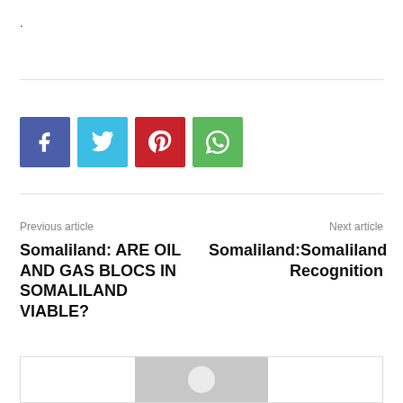.
[Figure (other): Social sharing buttons: Facebook (blue), Twitter (light blue), Pinterest (red), WhatsApp (green)]
Previous article
Next article
Somaliland: ARE OIL AND GAS BLOCS IN SOMALILAND VIABLE?
Somaliland:Somaliland Recognition
[Figure (photo): Avatar placeholder image — gray rectangle with white circle in center]